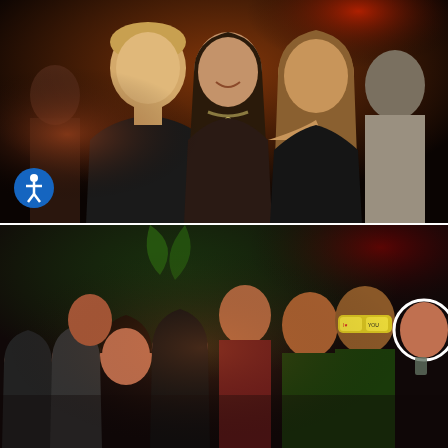[Figure (photo): Nightclub photo of three young adults (one man on the left in a dark jacket, two women in the center and right) posing and smiling in a dark venue with warm orange-red ambient lighting. An accessibility icon (blue circle with white person figure) is visible in the lower left corner of the image.]
[Figure (photo): Nightclub group photo of approximately 9-10 young adults of Asian descent posing together and smiling. One person on the right wears novelty yellow glasses with 'I ♥ YOU' text. One woman on the far right has a white circle highlight/tag around her face. Green decorative lighting visible in background.]